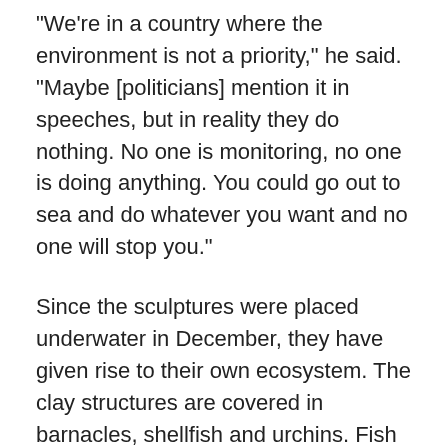"We're in a country where the environment is not a priority," he said. "Maybe [politicians] mention it in speeches, but in reality they do nothing. No one is monitoring, no one is doing anything. You could go out to sea and do whatever you want and no one will stop you."
Since the sculptures were placed underwater in December, they have given rise to their own ecosystem. The clay structures are covered in barnacles, shellfish and urchins. Fish visit frequently to find refuge and feed on algae.